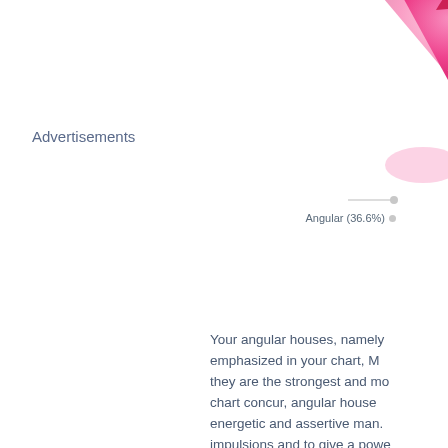Advertisements
[Figure (pie-chart): Partial pie chart showing Angular at 36.6%, with pink/rose colored slice visible at top right corner of page. Legend label reads Angular (36.6%) with a grey dot.]
Your angular houses, namely emphasized in your chart, M they are the strongest and most chart concur, angular house energetic and assertive man. impulsions and to give a powe
Unusual fates are often linke this is only a partial indication.
N.B.: this dominant is a minor